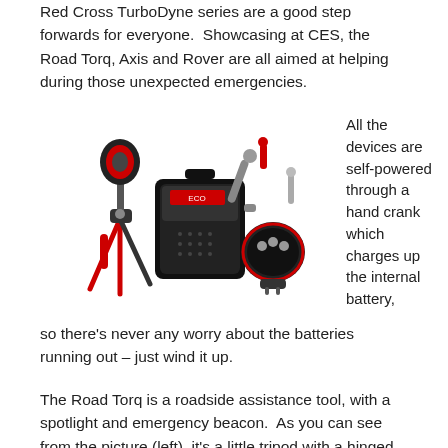Red Cross TurboDyne series are a good step forwards for everyone.  Showcasing at CES, the Road Torq, Axis and Rover are all aimed at helping during those unexpected emergencies.
[Figure (photo): Three Red Cross TurboDyne emergency devices: a tripod-mounted spotlight/beacon (Road Torq) on the left, a hand-crank emergency radio/charger (Axis) in the center, and a car charger with flashlight (Rover) on the right. Devices are primarily black and red in color.]
All the devices are self-powered through a hand crank which charges up the internal battery, so there's never any worry about the batteries running out – just wind it up.
The Road Torq is a roadside assistance tool, with a spotlight and emergency beacon.  As you can see from the picture (left), it's a little tripod with a hinged